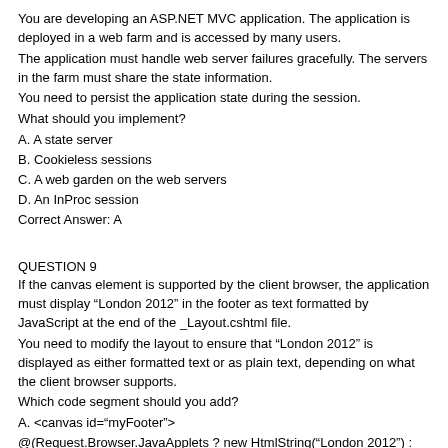You are developing an ASP.NET MVC application. The application is deployed in a web farm and is accessed by many users.
The application must handle web server failures gracefully. The servers in the farm must share the state information.
You need to persist the application state during the session.
What should you implement?
A. A state server
B. Cookieless sessions
C. A web garden on the web servers
D. An InProc session
Correct Answer: A
QUESTION 9
If the canvas element is supported by the client browser, the application must display “London 2012” in the footer as text formatted by JavaScript at the end of the _Layout.cshtml file.
You need to modify the layout to ensure that “London 2012” is displayed as either formatted text or as plain text, depending on what the client browser supports.
Which code segment should you add?
A. <canvas id="myFooter">
@(Request.Browser.JavaApplets ? new HtmlString(“London 2012”) : null)
</canvas>
B. <canvas id="myFooter">London 2012</canvas>
C. <canvas id="myCanvas">London 2012</canvas>